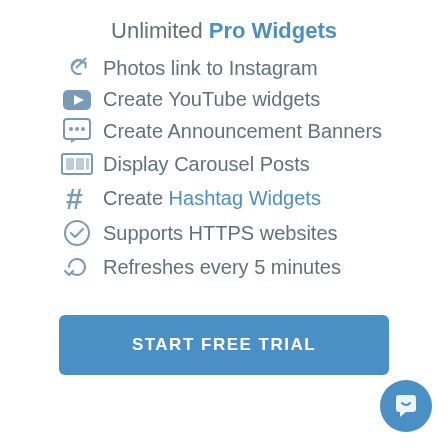Unlimited Pro Widgets
Photos link to Instagram
Create YouTube widgets
Create Announcement Banners
Display Carousel Posts
Create Hashtag Widgets
Supports HTTPS websites
Refreshes every 5 minutes
START FREE TRIAL